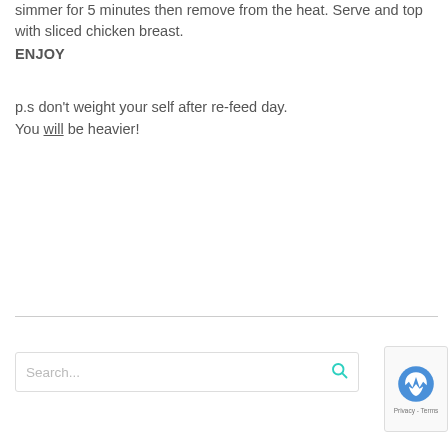simmer for 5 minutes then remove from the heat. Serve and top with sliced chicken breast.
ENJOY
p.s don't weight your self after re-feed day. You will be heavier!
Search...